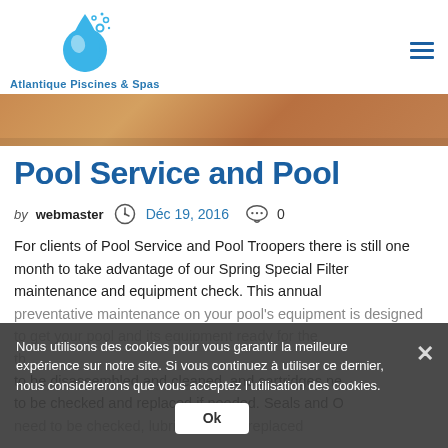[Figure (logo): Atlantique Piscines & Spas logo — blue water droplet with bubbles above text]
[Figure (photo): Hero image showing a wooden pool deck surface]
Pool Service and Pool
by webmaster   Déc 19, 2016   0
For clients of Pool Service and Pool Troopers there is still one month to take advantage of our Spring Special Filter maintenance and equipment check. This annual preventative maintenance on your pool's equipment is designed to get your pool and its equipment ready for the...to be disassembled and cleaned, and cartridges need to be checked and replaced if needed. Seals and O need to be checked, lubricated, and replaced...
Nous utilisons des cookies pour vous garantir la meilleure expérience sur notre site. Si vous continuez à utiliser ce dernier, nous considérerons que vous acceptez l'utilisation des cookies.